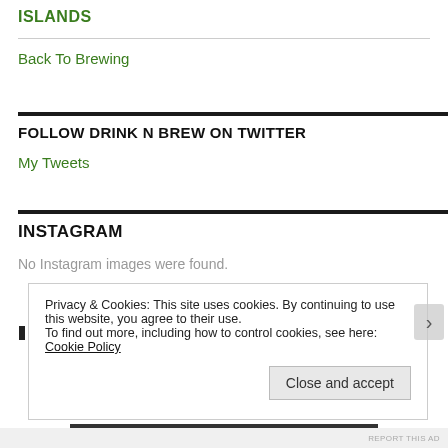ISLANDS
Back To Brewing
FOLLOW DRINK N BREW ON TWITTER
My Tweets
INSTAGRAM
No Instagram images were found.
Privacy & Cookies: This site uses cookies. By continuing to use this website, you agree to their use.
To find out more, including how to control cookies, see here: Cookie Policy
Close and accept